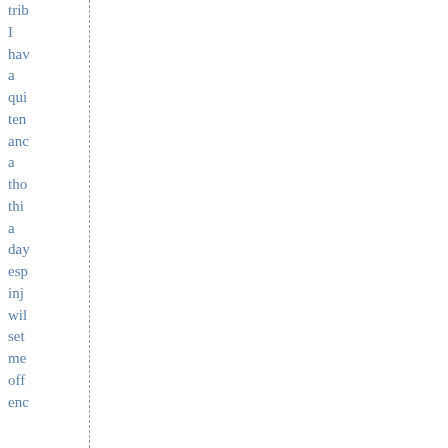trib
I
hav
a
qui
ten
anc
a
tho
thi
a
day
esp
inj
wil
set
me
off
enc